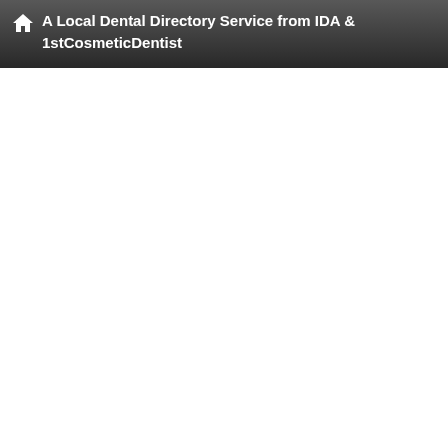A Local Dental Directory Service from IDA & 1stCosmeticDentist